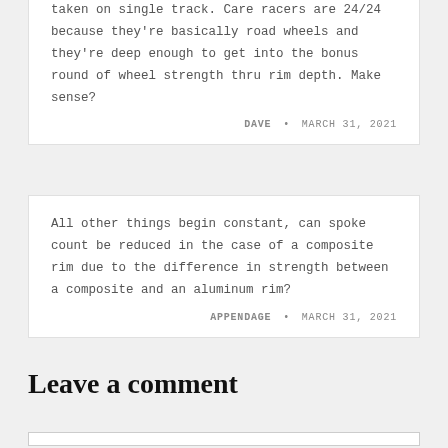taken on single track. Care racers are 24/24 because they're basically road wheels and they're deep enough to get into the bonus round of wheel strength thru rim depth. Make sense?
DAVE • MARCH 31, 2021
All other things begin constant, can spoke count be reduced in the case of a composite rim due to the difference in strength between a composite and an aluminum rim?
APPENDAGE • MARCH 31, 2021
Leave a comment